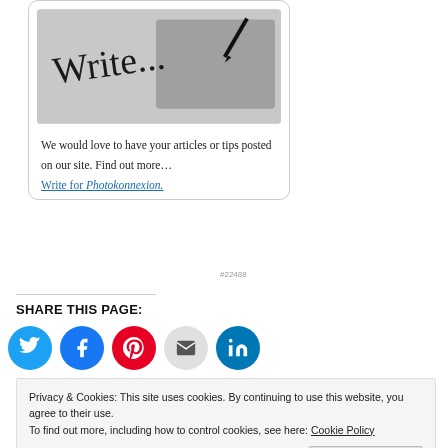[Figure (photo): Black and white photo of a hand writing the word 'Write...' with a pen on paper]
We would love to have your articles or tips posted on our site. Find out more…
Write for Photokonnexion.
#22488
SHARE THIS PAGE:
[Figure (infographic): Social share buttons: Twitter (blue), Facebook (blue), Pinterest (red), Email (grey), LinkedIn (teal)]
Privacy & Cookies: This site uses cookies. By continuing to use this website, you agree to their use.
To find out more, including how to control cookies, see here: Cookie Policy
Close and accept